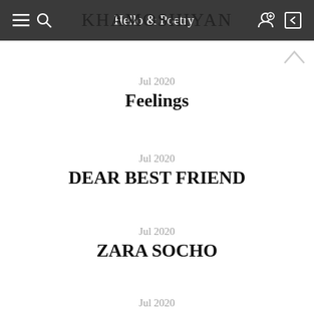Hello & Poetry
KHAMOSHIYAN
Jul 2020
Feelings
Jul 2020
DEAR BEST FRIEND
Jul 2020
ZARA SOCHO
Jul 2020